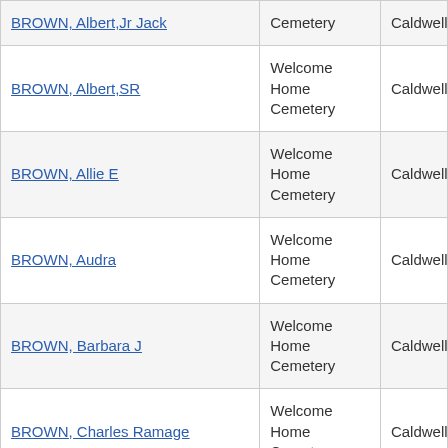| Name | Cemetery | County |
| --- | --- | --- |
| BROWN, Albert,Jr Jack | Cemetery | Caldwell |
| BROWN, Albert,SR | Welcome Home Cemetery | Caldwell |
| BROWN, Allie E | Welcome Home Cemetery | Caldwell |
| BROWN, Audra | Welcome Home Cemetery | Caldwell |
| BROWN, Barbara J | Welcome Home Cemetery | Caldwell |
| BROWN, Charles Ramage | Welcome Home Cemetery | Caldwell |
| BROWN, Charlotte Jeannie | Welcome Home Cemetery | Caldwell |
| BROWN, Clyda | Welcome Home Cemetery | Caldwell |
| BROWN, Dalton Lavell | Welcome Home Cemetery | Caldwell |
| BROWN, ... | Welcome Home ... | ... |